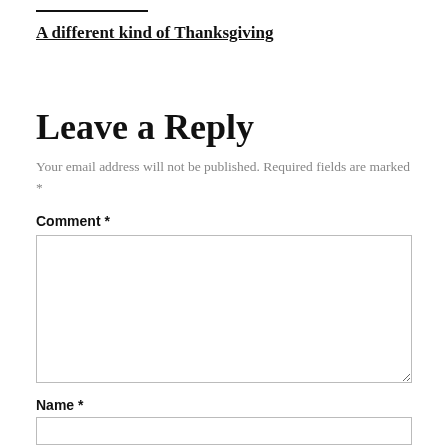A different kind of Thanksgiving
Leave a Reply
Your email address will not be published. Required fields are marked *
Comment *
Name *